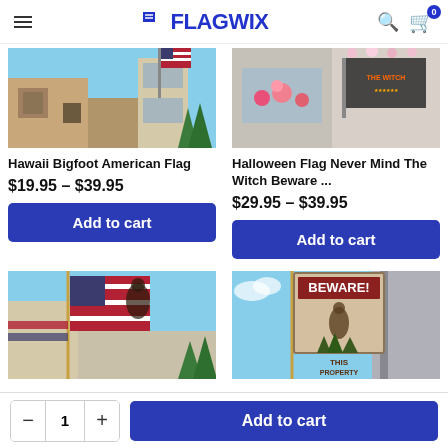FLAGWIX
[Figure (photo): Hawaii Bigfoot American Flag product photo showing flag hanging on house exterior]
Hawaii Bigfoot American Flag
$19.95 – $39.95
Add to cart
[Figure (photo): Halloween Flag Never Mind The Witch Beware product photo showing flag with Halloween theme]
Halloween Flag Never Mind The Witch Beware ...
$29.95 – $39.95
Add to cart
[Figure (photo): Second Bigfoot American flag product photo with patriotic theme]
[Figure (photo): Beware This Property flag product photo showing Bigfoot warning sign]
Add to cart